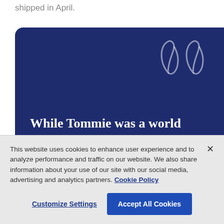shipped in April.
[Figure (illustration): Dark blue rounded card with large decorative quotation marks in the upper right, and white serif bold text beginning 'While Tommie was a world champion runner, his work as one of the original activist athletes laid']
This website uses cookies to enhance user experience and to analyze performance and traffic on our website. We also share information about your use of our site with our social media, advertising and analytics partners. Cookie Policy
Customize Settings
Accept All Cookies